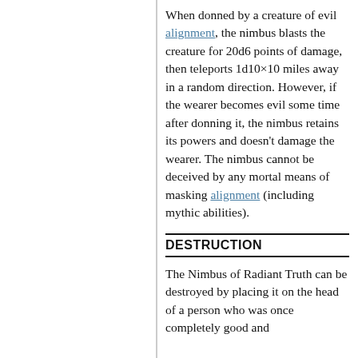When donned by a creature of evil alignment, the nimbus blasts the creature for 20d6 points of damage, then teleports 1d10×10 miles away in a random direction. However, if the wearer becomes evil some time after donning it, the nimbus retains its powers and doesn't damage the wearer. The nimbus cannot be deceived by any mortal means of masking alignment (including mythic abilities).
DESTRUCTION
The Nimbus of Radiant Truth can be destroyed by placing it on the head of a person who was once completely good and